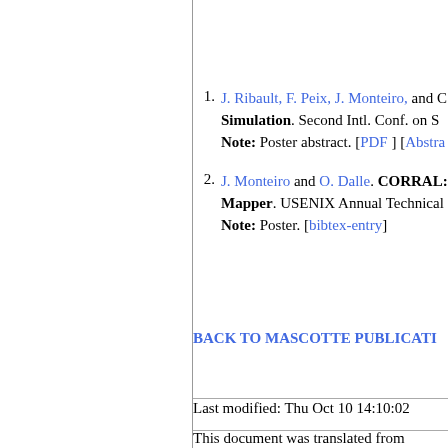J. Ribault, F. Peix, J. Monteiro, and C... Simulation. Second Intl. Conf. on S... Note: Poster abstract. [PDF ] [Abstra...
J. Monteiro and O. Dalle. CORRAL: ... Mapper. USENIX Annual Technical ... Note: Poster. [bibtex-entry]
BACK TO MASCOTTE PUBLICATI...
Last modified: Thu Oct 10 14:10:02 ...
This document was translated from ...